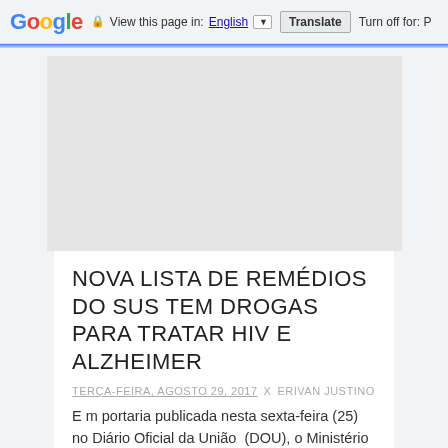Google  View this page in: English [▼]  Translate  Turn off for: P
[Figure (other): Advertisement placeholder box, light gray rectangle]
NOVA LISTA DE REMÉDIOS DO SUS TEM DROGAS PARA TRATAR HIV E ALZHEIMER
TERÇA-FEIRA, AGOSTO 29, 2017  X  ERIVAN JUSTINO
E m portaria publicada nesta sexta-feira (25) no Diário Oficial da União  (DOU), o Ministério da Saúde estabeleceu a nova Relação Nacion...